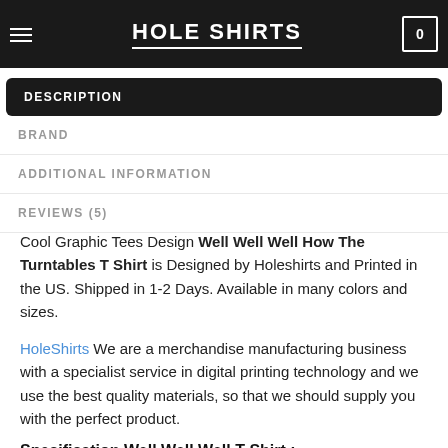HOLE SHIRTS
DESCRIPTION
BRAND
ADDITIONAL INFORMATION
REVIEWS (5)
Cool Graphic Tees Design Well Well Well How The Turntables T Shirt is Designed by Holeshirts and Printed in the US. Shipped in 1-2 Days. Available in many colors and sizes.
HoleShirts We are a merchandise manufacturing business with a specialist service in digital printing technology and we use the best quality materials, so that we should supply you with the perfect product.
Specification Well Well Well T Shirt :